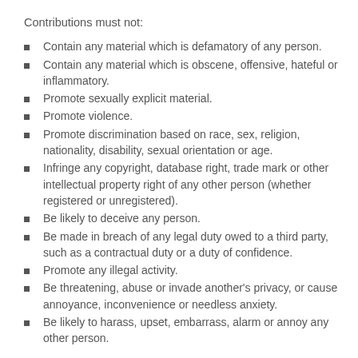Contributions must not:
Contain any material which is defamatory of any person.
Contain any material which is obscene, offensive, hateful or inflammatory.
Promote sexually explicit material.
Promote violence.
Promote discrimination based on race, sex, religion, nationality, disability, sexual orientation or age.
Infringe any copyright, database right, trade mark or other intellectual property right of any other person (whether registered or unregistered).
Be likely to deceive any person.
Be made in breach of any legal duty owed to a third party, such as a contractual duty or a duty of confidence.
Promote any illegal activity.
Be threatening, abuse or invade another's privacy, or cause annoyance, inconvenience or needless anxiety.
Be likely to harass, upset, embarrass, alarm or annoy any other person.